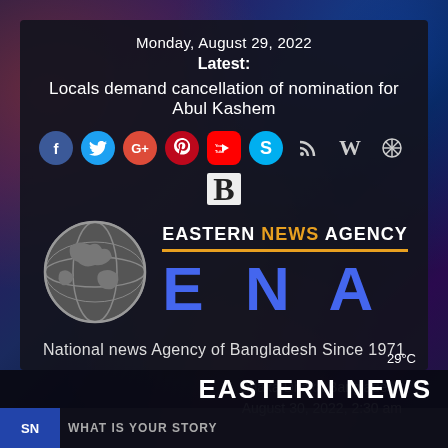Monday, August 29, 2022
Latest:
Locals demand cancellation of nomination for Abul Kashem
[Figure (infographic): Social media icons: Facebook, Twitter, Google+, Pinterest, YouTube, Skype, RSS, Wikipedia, Raelian symbol, bold B]
[Figure (logo): Eastern News Agency logo with globe, text EASTERN NEWS AGENCY, orange bar, ENA letters in blue]
National news Agency of Bangladesh Since 1971
Dhaka Dhaka Bangladesh
August 30, 2022, 2:30 am
EASTERN NEWS
SN | WHAT IS YOUR STORY